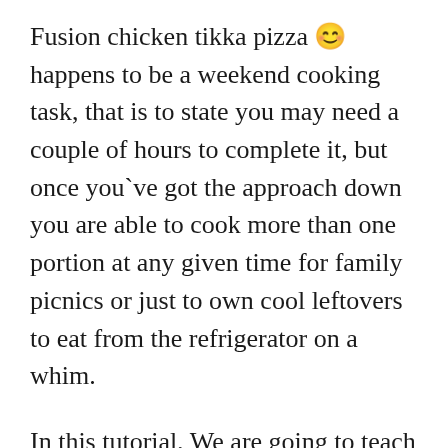Fusion chicken tikka pizza 😊 happens to be a weekend cooking task, that is to state you may need a couple of hours to complete it, but once you`ve got the approach down you are able to cook more than one portion at any given time for family picnics or just to own cool leftovers to eat from the refrigerator on a whim.
In this tutorial, We are going to teach you making Fusion chicken tikka pizza 😊 DIY with simple ingredients, just like Chinese restaurants. My Fusion chicken tikka pizza 😊 recipe is the greatest in the world!
I may also educate you on how to use up leftover steamed rice and ensure it is into an appetizing